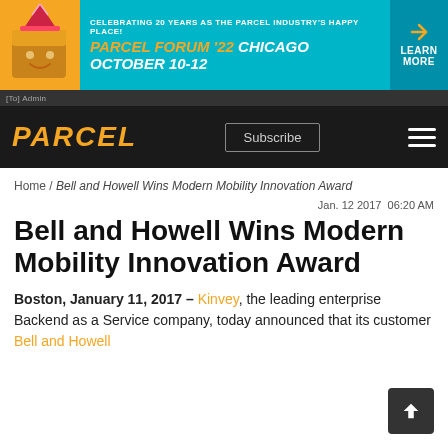[Figure (illustration): Parcel Forum '22 Chicago October 10-12 advertisement banner with mascot box character and teal background]
PARCEL — navigation bar with Subscribe button and hamburger menu
[To] Admin
Home / Bell and Howell Wins Modern Mobility Innovation Award
Jan. 12 2017  06:20 AM
Bell and Howell Wins Modern Mobility Innovation Award
Boston, January 11, 2017 – Kinvey, the leading enterprise Backend as a Service company, today announced that its customer Bell and Howell